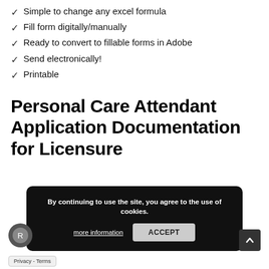Simple to change any excel formula
Fill form digitally/manually
Ready to convert to fillable forms in Adobe
Send electronically!
Printable
Personal Care Attendant Application Documentation for Licensure
By continuing to use the site, you agree to the use of cookies.
more information
ACCEPT
Privacy - Terms